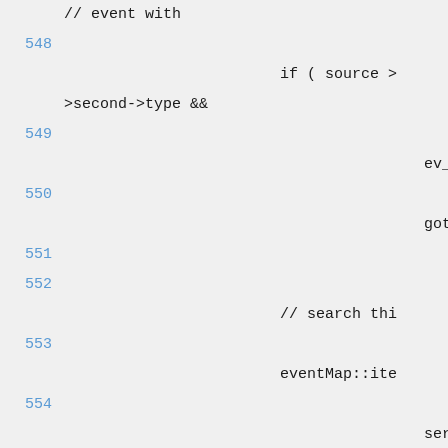// event with
548
if ( source >
>second->type &&
549
ev_it
550
goto n
551
552
// search thi
553
eventMap::ite
554
servi
>second->getEventID());
555
556
if ( ev_it_tmp
557
{